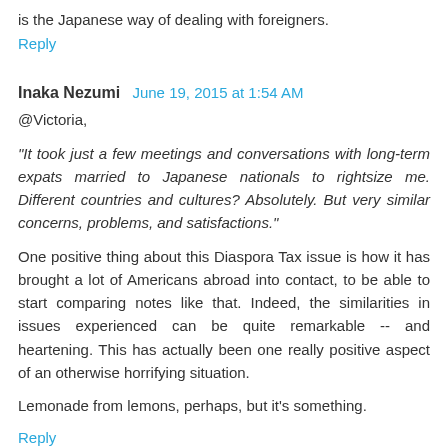is the Japanese way of dealing with foreigners.
Reply
Inaka Nezumi  June 19, 2015 at 1:54 AM
@Victoria,
"It took just a few meetings and conversations with long-term expats married to Japanese nationals to rightsize me. Different countries and cultures? Absolutely. But very similar concerns, problems, and satisfactions."
One positive thing about this Diaspora Tax issue is how it has brought a lot of Americans abroad into contact, to be able to start comparing notes like that. Indeed, the similarities in issues experienced can be quite remarkable -- and heartening. This has actually been one really positive aspect of an otherwise horrifying situation.
Lemonade from lemons, perhaps, but it's something.
Reply